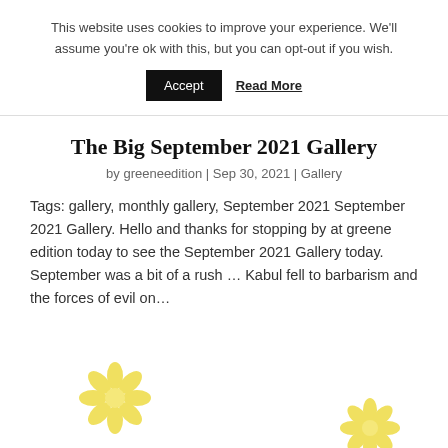This website uses cookies to improve your experience. We'll assume you're ok with this, but you can opt-out if you wish.
Accept   Read More
The Big September 2021 Gallery
by greeneedition | Sep 30, 2021 | Gallery
Tags: gallery, monthly gallery, September 2021 September  2021 Gallery. Hello and thanks for stopping by at greene edition today to see the September 2021 Gallery today.   September was a bit of a rush … Kabul fell to barbarism and the forces of evil on…
[Figure (illustration): Two decorative yellow daisy flower illustrations at the bottom of the page]